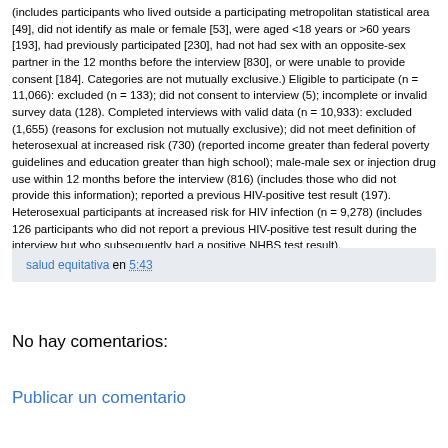(includes participants who lived outside a participating metropolitan statistical area [49], did not identify as male or female [53], were aged <18 years or >60 years [193], had previously participated [230], had not had sex with an opposite-sex partner in the 12 months before the interview [830], or were unable to provide consent [184]. Categories are not mutually exclusive.) Eligible to participate (n = 11,066): excluded (n = 133); did not consent to interview (5); incomplete or invalid survey data (128). Completed interviews with valid data (n = 10,933): excluded (1,655) (reasons for exclusion not mutually exclusive); did not meet definition of heterosexual at increased risk (730) (reported income greater than federal poverty guidelines and education greater than high school); male-male sex or injection drug use within 12 months before the interview (816) (includes those who did not provide this information); reported a previous HIV-positive test result (197). Heterosexual participants at increased risk for HIV infection (n = 9,278) (includes 126 participants who did not report a previous HIV-positive test result during the interview but who subsequently had a positive NHBS test result).
salud equitativa en 5:43
No hay comentarios:
Publicar un comentario